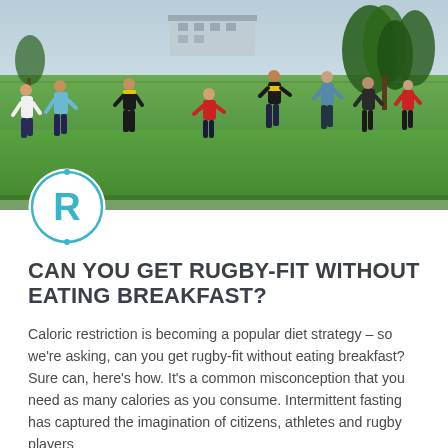[Figure (photo): Rugby players training on a grass field outdoors, with a building and trees visible in the background. Multiple players in various colored jerseys are running and moving.]
CAN YOU GET RUGBY-FIT WITHOUT EATING BREAKFAST?
Caloric restriction is becoming a popular diet strategy – so we're asking, can you get rugby-fit without eating breakfast? Sure can, here's how. It's a common misconception that you need as many calories as you consume. Intermittent fasting has captured the imagination of citizens, athletes and rugby players